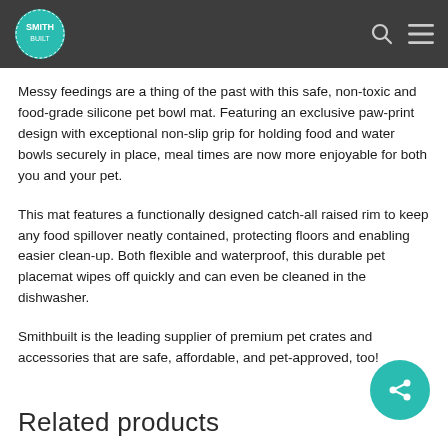Smithbuilt logo, search icon, menu icon navigation bar
Messy feedings are a thing of the past with this safe, non-toxic and food-grade silicone pet bowl mat. Featuring an exclusive paw-print design with exceptional non-slip grip for holding food and water bowls securely in place, meal times are now more enjoyable for both you and your pet.
This mat features a functionally designed catch-all raised rim to keep any food spillover neatly contained, protecting floors and enabling easier clean-up. Both flexible and waterproof, this durable pet placemat wipes off quickly and can even be cleaned in the dishwasher.
Smithbuilt is the leading supplier of premium pet crates and accessories that are safe, affordable, and pet-approved, too!
Related products